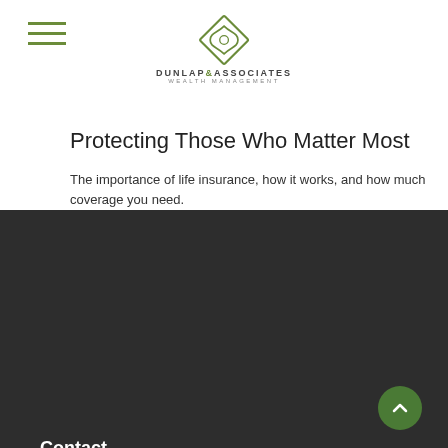[Figure (logo): Dunlap & Associates Wealth Management logo with green geometric symbol and company name]
Protecting Those Who Matter Most
The importance of life insurance, how it works, and how much coverage you need.
Contact
Office: (770) 632-2674
Toll-Free: (800) 416-7870
Fax: (770) 632-5970
1401 Georgian Park
Suite 210
Peachtree City, GA 30269